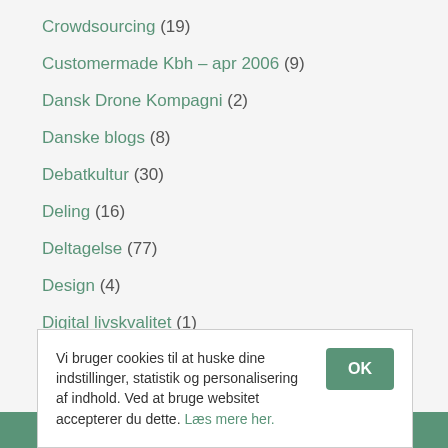Crowdsourcing (19)
Customermade Kbh – apr 2006 (9)
Dansk Drone Kompagni (2)
Danske blogs (8)
Debatkultur (30)
Deling (16)
Deltagelse (77)
Design (4)
Digital livskvalitet (1)
Digitalisering (4)
Dimser (8)
Diverse (57)
DLD München – jan 2008 (1)
Dyb… (partially visible)
End… (partially visible)
Vi bruger cookies til at huske dine indstillinger, statistik og personalisering af indhold. Ved at bruge websitet accepterer du dette. Læs mere her.
Ring til mig på telefon: … 29 17 04